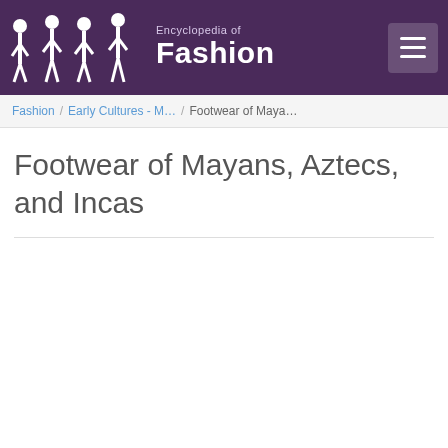Encyclopedia of Fashion
Fashion / Early Cultures - M… / Footwear of Maya…
Footwear of Mayans, Aztecs, and Incas